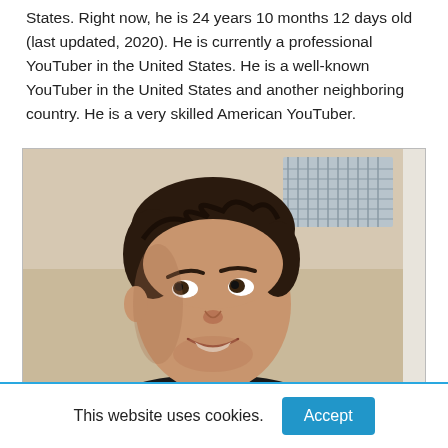States. Right now, he is 24 years 10 months 12 days old (last updated, 2020). He is currently a professional YouTuber in the United States. He is a well-known YouTuber in the United States and another neighboring country. He is a very skilled American YouTuber.
[Figure (photo): Photo of a young man with dark curly hair, smiling slightly, looking to his left, wearing a dark shirt, indoor background with a light-colored wall and ventilation grille.]
This website uses cookies.
Accept